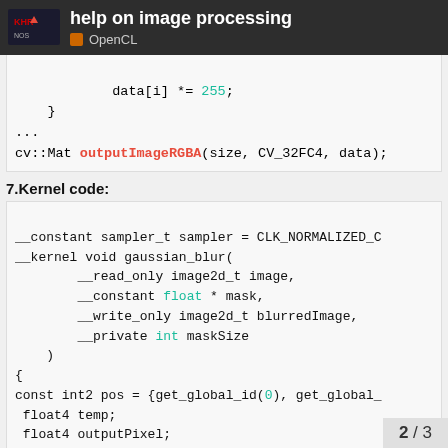help on image processing — OpenCL
[Figure (screenshot): Code snippet showing data[i] *= 255; closing brace, ellipsis, and cv::Mat outputImageRGBA(size, CV_32FC4, data);]
7.Kernel code:
[Figure (screenshot): OpenCL kernel code: __constant sampler_t sampler = CLK_NORMALIZED_C... __kernel void gaussian_blur( __read_only image2d_t image, __constant float * mask, __write_only image2d_t blurredImage, __private int maskSize ) { const int2 pos = {get_global_id(0), get_global_... float4 temp; float4 outputPixel; // Collect neighbor values]
2 / 3